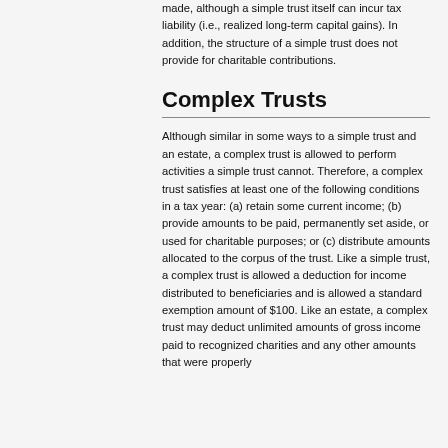made, although a simple trust itself can incur tax liability (i.e., realized long-term capital gains). In addition, the structure of a simple trust does not provide for charitable contributions.
Complex Trusts
Although similar in some ways to a simple trust and an estate, a complex trust is allowed to perform activities a simple trust cannot. Therefore, a complex trust satisfies at least one of the following conditions in a tax year: (a) retain some current income; (b) provide amounts to be paid, permanently set aside, or used for charitable purposes; or (c) distribute amounts allocated to the corpus of the trust. Like a simple trust, a complex trust is allowed a deduction for income distributed to beneficiaries and is allowed a standard exemption amount of $100. Like an estate, a complex trust may deduct unlimited amounts of gross income paid to recognized charities and any other amounts that were properly